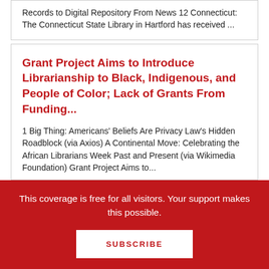Records to Digital Repository From News 12 Connecticut: The Connecticut State Library in Hartford has received ...
Grant Project Aims to Introduce Librarianship to Black, Indigenous, and People of Color; Lack of Grants From Funding...
1 Big Thing: Americans' Beliefs Are Privacy Law's Hidden Roadblock (via Axios) A Continental Move: Celebrating the African Librarians Week Past and Present (via Wikimedia Foundation) Grant Project Aims to...
This coverage is free for all visitors. Your support makes this possible.
SUBSCRIBE